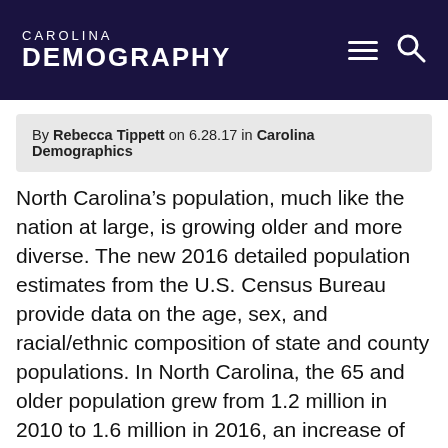CAROLINA DEMOGRAPHY
By Rebecca Tippett on 6.28.17 in Carolina Demographics
North Carolina’s population, much like the nation at large, is growing older and more diverse. The new 2016 detailed population estimates from the U.S. Census Bureau provide data on the age, sex, and racial/ethnic composition of state and county populations. In North Carolina, the 65 and older population grew from 1.2 million in 2010 to 1.6 million in 2016, an increase of 335,000 or 27%. As of 2016, 15.5% of North Carolina’s population was 65…
Continue Reading »